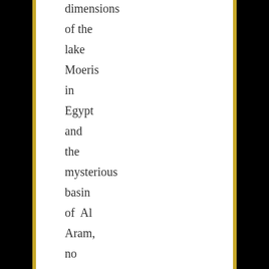dimensions of the lake Moeris in Egypt and the mysterious basin of Al Aram, no similar construction was formed by any race whether ancient